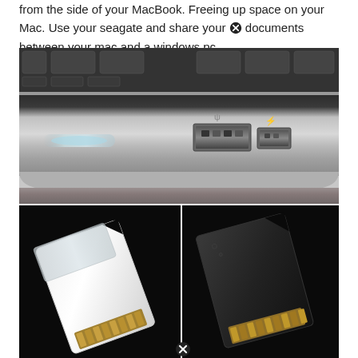from the side of your MacBook. Freeing up space on your Mac. Use your seagate and share your documents between your mac and a windows pc.
[Figure (photo): Close-up photo of the side of a MacBook laptop showing USB and Thunderbolt ports on the silver aluminum body, with keyboard keys visible at top.]
[Figure (photo): Two micro SD card adapters on black background: a white/clear adapter on the left and a black adapter on the right, both showing gold contact pins.]